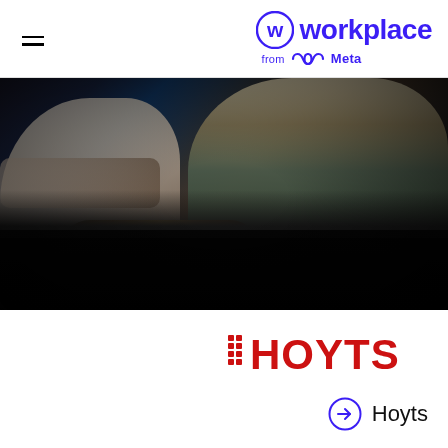Workplace from Meta
[Figure (photo): People sitting in luxury cinema/theater recliner seats, shot in moody dark lighting. A woman in a dark top is visible in the center-right, and a person in a white shirt is on the left.]
[Figure (logo): HOYTS logo in red with dot-matrix style dots before the text]
[Figure (logo): Hoyts link with arrow circle icon and text 'Hoyts']